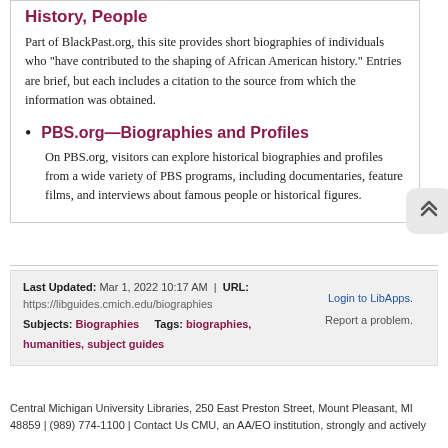History, People
Part of BlackPast.org, this site provides short biographies of individuals who "have contributed to the shaping of African American history." Entries are brief, but each includes a citation to the source from which the information was obtained.
PBS.org—Biographies and Profiles
On PBS.org, visitors can explore historical biographies and profiles from a wide variety of PBS programs, including documentaries, feature films, and interviews about famous people or historical figures.
Last Updated: Mar 1, 2022 10:17 AM | URL: https://libguides.cmich.edu/biographies
Subjects: Biographies   Tags: biographies, humanities, subject guides
Login to LibApps. Report a problem.
Central Michigan University Libraries, 250 East Preston Street, Mount Pleasant, MI 48859 | (989) 774-1100 | Contact Us CMU, an AA/EO institution, strongly and actively